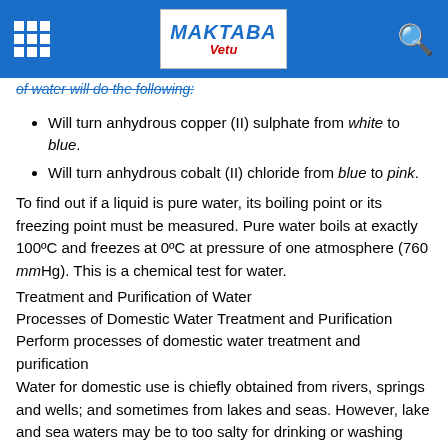MAKTABA Yetu
of water will do the following:
Will turn anhydrous copper (II) sulphate from white to blue.
Will turn anhydrous cobalt (II) chloride from blue to pink.
To find out if a liquid is pure water, its boiling point or its freezing point must be measured. Pure water boils at exactly 100°C and freezes at 0°C at pressure of one atmosphere (760 mmHg). This is a chemical test for water.
Treatment and Purification of Water
Processes of Domestic Water Treatment and Purification
Perform processes of domestic water treatment and purification
Water for domestic use is chiefly obtained from rivers, springs and wells; and sometimes from lakes and seas. However, lake and sea waters may be to too salty for drinking or washing and hence not normally used for such purposes. But for some countries, the sea is a major source of drinking water. However, this water must be desalinized (have its salt removed) and purified before being used